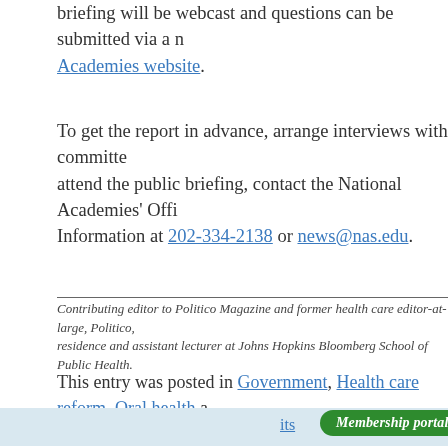briefing will be webcast and questions can be submitted via a ... Academies website.
To get the report in advance, arrange interviews with committe... attend the public briefing, contact the National Academies' Offi... Information at 202-334-2138 or news@nas.edu.
Contributing editor to Politico Magazine and former health care editor-at-large, Politico, ... residence and assistant lecturer at Johns Hopkins Bloomberg School of Public Health.
This entry was posted in Government, Health care reform, Oral health a...
← BEHIND OKLAHOMA'S NATION-LEADING ACCESS-TO-CARE PROBLEMS
PROMOTION, NEW...
Log in to comment...